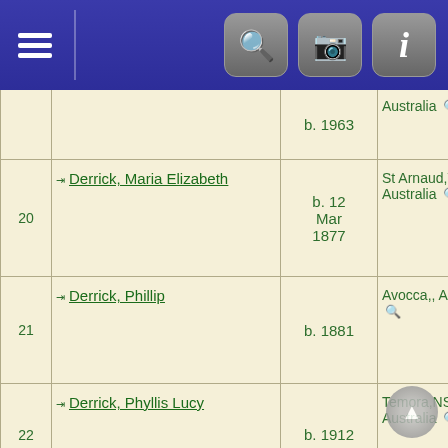Genealogy search results header with navigation icons
| # | Name | Birth | Place |
| --- | --- | --- | --- |
|  |  | b. 1963 | Australia |
| 20 | Derrick, Maria Elizabeth | b. 12 Mar 1877 | St Arnaud,VIC, Australia |
| 21 | Derrick, Phillip | b. 1881 | Avocca,, Australia |
| 22 | Derrick, Phyllis Lucy | b. 1912 | Temora,NSW, Australia |
| 23 | Derrick, Rachel Ann | b. 1868 | Avocca,NSW, Australia |
| 24 | Derrick, Thomas Albert | b. 1875 | Avocca,VIC, Australia |
| 25 | Derrick, Thomas Charles | b. 1912 | Marrickville,N Australia |